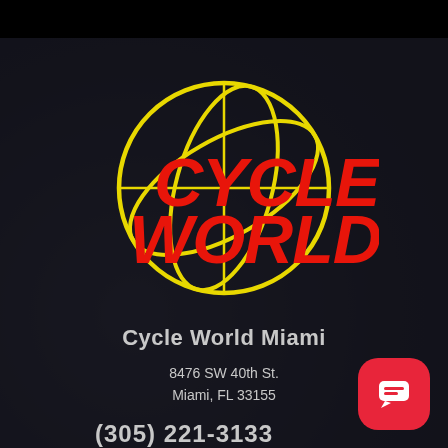[Figure (logo): Cycle World logo — bold red italic text 'CYCLE WORLD' overlaid on a yellow globe/orbit graphic]
Cycle World Miami
8476 SW 40th St.
Miami, FL 33155
(305) 221-3133